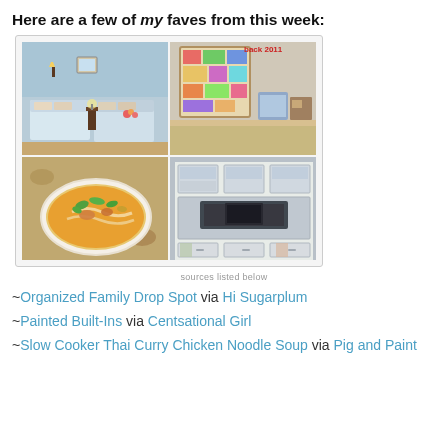Here are a few of my faves from this week:
[Figure (photo): A 2x2 collage of four photos: top-left shows a blue bedroom with twin beds, top-right shows an organized family drop spot with colorful bulletin board, bottom-left shows a bowl of Thai curry chicken noodle soup, bottom-right shows painted built-in shelving unit with fireplace.]
sources listed below
~Organized Family Drop Spot via Hi Sugarplum
~Painted Built-Ins via Centsational Girl
~Slow Cooker Thai Curry Chicken Noodle Soup via Pig and Paint